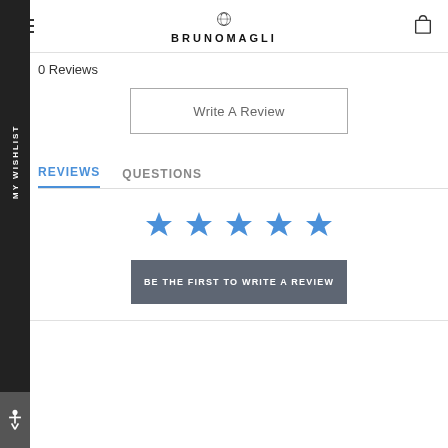BRUNOMAGLI
0 Reviews
Write A Review
REVIEWS  QUESTIONS
[Figure (illustration): Five blue star icons in a row indicating a 5-star rating placeholder]
BE THE FIRST TO WRITE A REVIEW